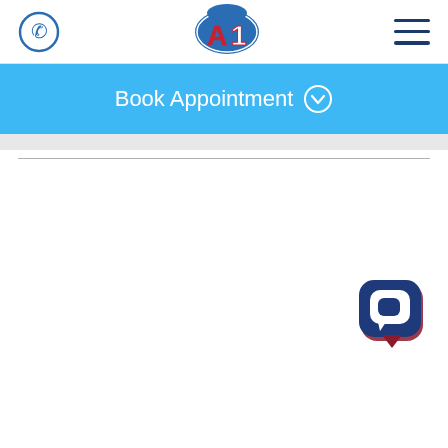[Figure (logo): A1 company logo with blue oval and red A1 lettering]
[Figure (screenshot): Book Appointment page with blue header bar, phone icon, hamburger menu, A1 logo, and chat widget]
Book Appointment